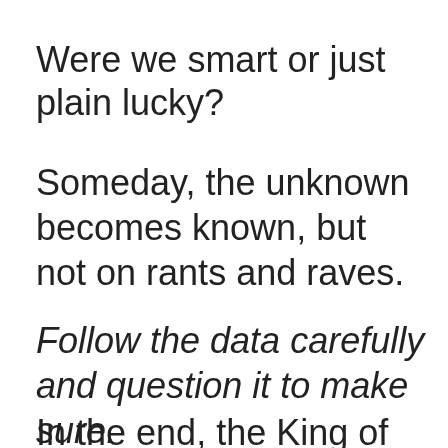Were we smart or just plain lucky?
Someday, the unknown becomes known, but not on rants and raves.
Follow the data carefully and question it to make sure.
In the end, the King of Kings is guiding